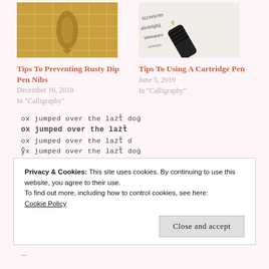[Figure (photo): Close-up photo of a gold dip pen nib on a grid background]
Tips To Preventing Rusty Dip Pen Nibs
December 16, 2018
In "Calligraphy"
[Figure (photo): Close-up photo of a fountain pen cartridge nib over handwritten calligraphy text]
Tips To Using A Cartridge Pen
June 5, 2019
In "Calligraphy"
ox jumped over the lazy dog
ox jumped over the lazy
ox jumped over the lazy d
oy jumped over the lazy dog
Finding the Perfect
Privacy & Cookies: This site uses cookies. By continuing to use this website, you agree to their use.
To find out more, including how to control cookies, see here: Cookie Policy
Close and accept